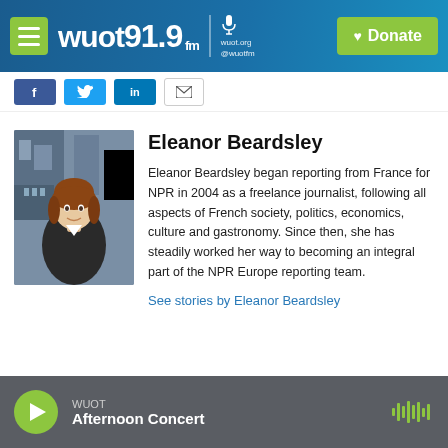WUOT 91.9 FM | wuot.org @wuotfm | Donate
[Figure (photo): Portrait photo of Eleanor Beardsley in front of a European building backdrop, wearing a dark coat]
Eleanor Beardsley
Eleanor Beardsley began reporting from France for NPR in 2004 as a freelance journalist, following all aspects of French society, politics, economics, culture and gastronomy. Since then, she has steadily worked her way to becoming an integral part of the NPR Europe reporting team.
See stories by Eleanor Beardsley
WUOT Afternoon Concert